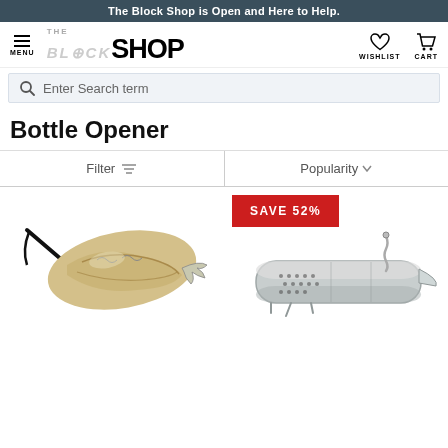The Block Shop is Open and Here to Help.
[Figure (logo): The Block Shop logo with menu, wishlist and cart icons]
Enter Search term
Bottle Opener
Filter   Popularity
SAVE 52%
[Figure (photo): Decorative bottle opener with ornate golden claw/hand design and black cord]
[Figure (photo): Silver Swiss army knife style multi-tool with corkscrew]